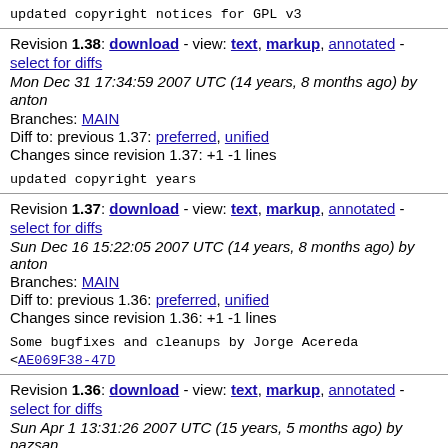updated copyright notices for GPL v3
Revision 1.38: download - view: text, markup, annotated - select for diffs
Mon Dec 31 17:34:59 2007 UTC (14 years, 8 months ago) by anton
Branches: MAIN
Diff to: previous 1.37: preferred, unified
Changes since revision 1.37: +1 -1 lines
updated copyright years
Revision 1.37: download - view: text, markup, annotated - select for diffs
Sun Dec 16 15:22:05 2007 UTC (14 years, 8 months ago) by anton
Branches: MAIN
Diff to: previous 1.36: preferred, unified
Changes since revision 1.36: +1 -1 lines
Some bugfixes and cleanups by Jorge Acereda <AE069F38-47D
Revision 1.36: download - view: text, markup, annotated - select for diffs
Sun Apr 1 13:31:26 2007 UTC (15 years, 5 months ago) by pazsan
Branches: MAIN